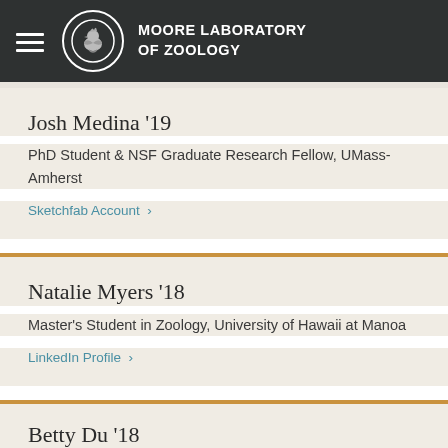MOORE LABORATORY OF ZOOLOGY
Josh Medina '19
PhD Student & NSF Graduate Research Fellow, UMass-Amherst
Sketchfab Account
Natalie Myers '18
Master's Student in Zoology, University of Hawaii at Manoa
LinkedIn Profile
Betty Du '18